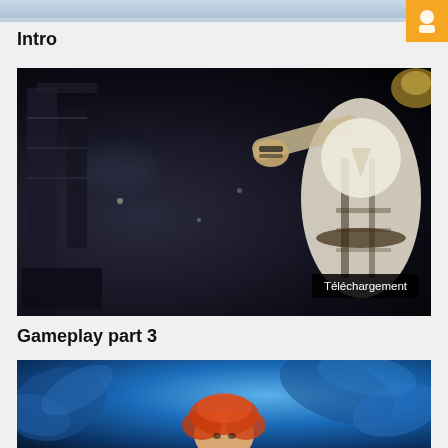[Figure (screenshot): Top partial thumbnail strip showing sky/scenery image with orange icon in corner]
Intro
[Figure (screenshot): Dark video game scene showing a character in white robes on the right side against dark background, with a Téléchargement (Download) badge overlay in bottom right]
Gameplay part 3
[Figure (screenshot): Video game scene showing a character with orange/red hair against a blue magical background, partially visible]